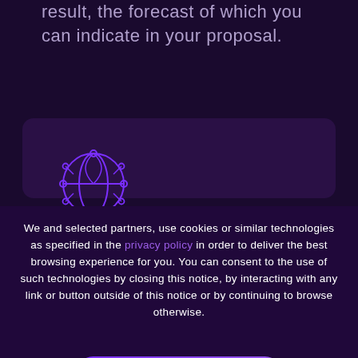result, the forecast of which you can indicate in your proposal.
[Figure (illustration): Globe/network icon with circular nodes and connecting lines, rendered in purple outline style on dark purple background]
We and selected partners, use cookies or similar technologies as specified in the privacy policy in order to deliver the best browsing experience for you. You can consent to the use of such technologies by closing this notice, by interacting with any link or button outside of this notice or by continuing to browse otherwise.
ACCEPT COOKIES